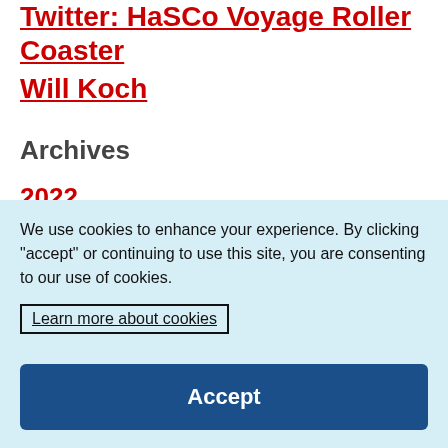Twitter: HaSCo Voyage Roller Coaster Will Koch
Archives
2022
August (8)
July (9)
June (8)
May (7)
We use cookies to enhance your experience. By clicking "accept" or continuing to use this site, you are consenting to our use of cookies.
Learn more about cookies
Accept